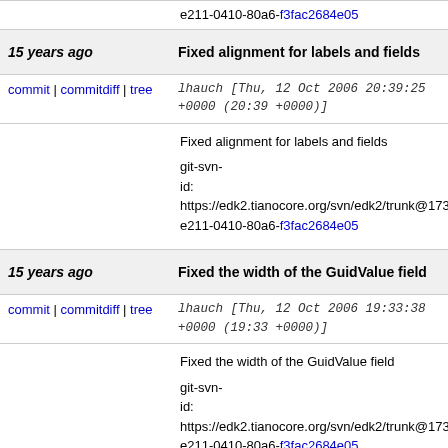e211-0410-80a6-f3fac2684e05
15 years ago   Fixed alignment for labels and fields
commit | commitdiff | tree   lhauch [Thu, 12 Oct 2006 20:39:25 +0000 (20:39 +0000)]
Fixed alignment for labels and fields

git-svn-id: https://edk2.tianocore.org/svn/edk2/trunk@173 e211-0410-80a6-f3fac2684e05
15 years ago   Fixed the width of the GuidValue field
commit | commitdiff | tree   lhauch [Thu, 12 Oct 2006 19:33:38 +0000 (19:33 +0000)]
Fixed the width of the GuidValue field

git-svn-id: https://edk2.tianocore.org/svn/edk2/trunk@173 e211-0410-80a6-f3fac2684e05
15 years ago   Fixed display for OS X and removed Recommended fields
commit | commitdiff | tree   lhauch [Thu, 12 Oct 2006 19:32:27 +0000 (19:32 +0000)]